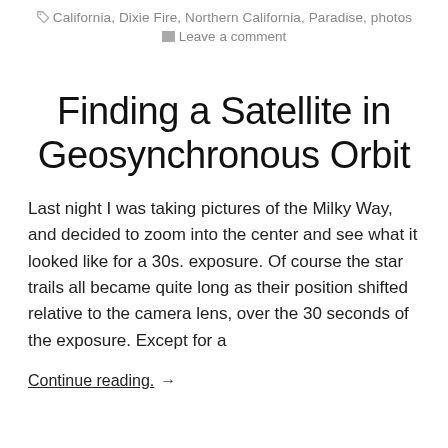California, Dixie Fire, Northern California, Paradise, photos
Leave a comment
Finding a Satellite in Geosynchronous Orbit
Last night I was taking pictures of the Milky Way, and decided to zoom into the center and see what it looked like for a 30s. exposure. Of course the star trails all became quite long as their position shifted relative to the camera lens, over the 30 seconds of the exposure. Except for a
Continue reading. →